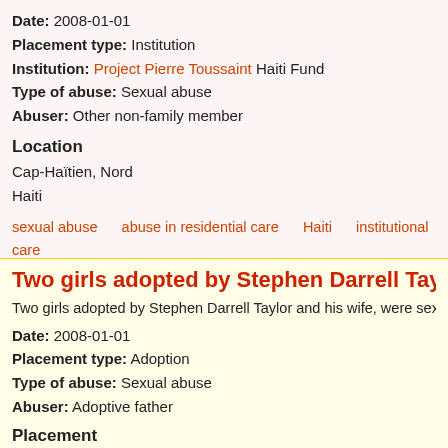Date: 2008-01-01
Placement type: Institution
Institution: Project Pierre Toussaint Haiti Fund
Type of abuse: Sexual abuse
Abuser: Other non-family member
Location
Cap-Haïtien, Nord
Haiti
sexual abuse   abuse in residential care   Haiti   institutional care
Login to post comments    1558 reads
Two girls adopted by Stephen Darrell Taylor
Two girls adopted by Stephen Darrell Taylor and his wife, were sexually
Date: 2008-01-01
Placement type: Adoption
Type of abuse: Sexual abuse
Abuser: Adoptive father
Placement